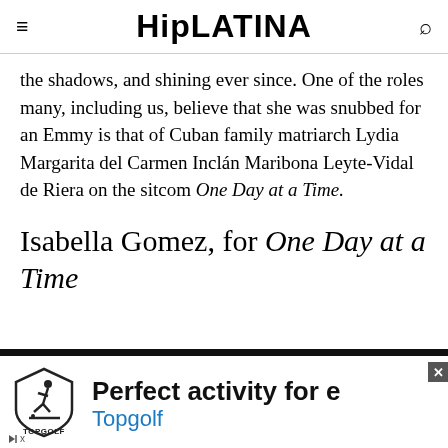HipLATINA
the shadows, and shining ever since. One of the roles many, including us, believe that she was snubbed for an Emmy is that of Cuban family matriarch Lydia Margarita del Carmen Inclán Maribona Leyte-Vidal de Riera on the sitcom One Day at a Time.
Isabella Gomez, for One Day at a Time
[Figure (other): Topgolf advertisement banner showing logo, 'Perfect activity for e...' text and 'Topgolf' brand name in blue]